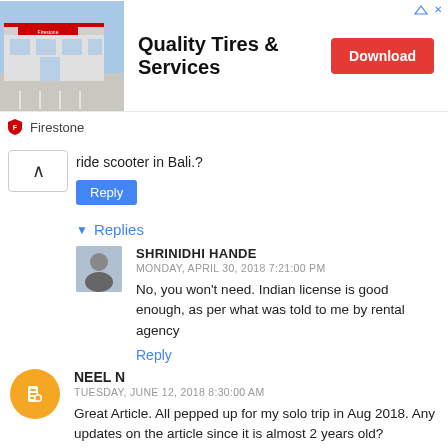[Figure (screenshot): Advertisement banner for Firestone Quality Tires & Services with store photo, Download button, and Firestone logo]
ride scooter in Bali.?
Reply
▾ Replies
SHRINIDHI HANDE
MONDAY, APRIL 30, 2018 7:21:00 PM
No, you won't need. Indian license is good enough, as per what was told to me by rental agency
Reply
NEEL N
TUESDAY, JUNE 12, 2018 8:30:00 AM
Great Article. All pepped up for my solo trip in Aug 2018. Any updates on the article since it is almost 2 years old?